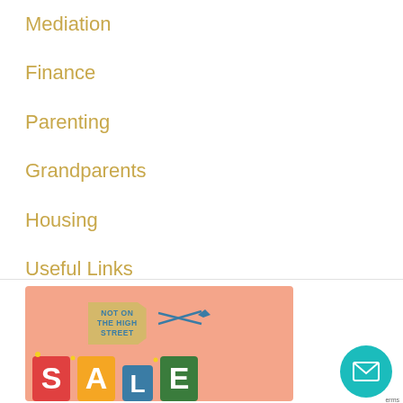Mediation
Finance
Parenting
Grandparents
Housing
Useful Links
[Figure (illustration): Not On The High Street advertisement banner with a salmon/coral pink background, showing a price tag logo with scissors, and colorful SALE letters at the bottom.]